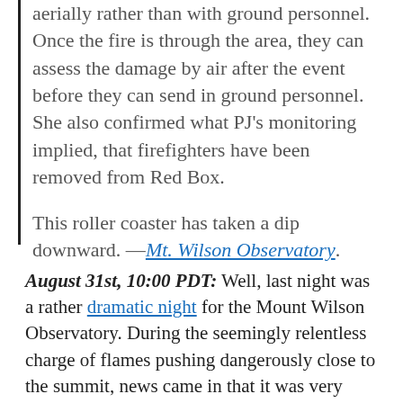aerially rather than with ground personnel. Once the fire is through the area, they can assess the damage by air after the event before they can send in ground personnel. She also confirmed what PJ’s monitoring implied, that firefighters have been removed from Red Box.
This roller coaster has taken a dip downward. —Mt. Wilson Observatory.
August 31st, 10:00 PDT: Well, last night was a rather dramatic night for the Mount Wilson Observatory. During the seemingly relentless charge of flames pushing dangerously close to the summit, news came in that it was very